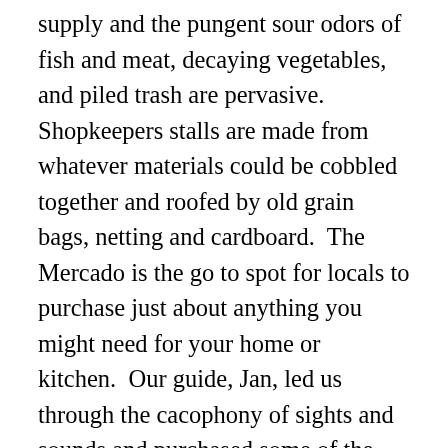supply and the pungent sour odors of fish and meat, decaying vegetables, and piled trash are pervasive.  Shopkeepers stalls are made from whatever materials could be cobbled together and roofed by old grain bags, netting and cardboard.  The Mercado is the go to spot for locals to purchase just about anything you might need for your home or kitchen.  Our guide, Jan, led us through the cacophony of sights and sounds and purchased some of the exotic tropical fruits and foods for us to sample.  We shared a lunch of steamed plantain, deep fried fish and Aguapanela, a local drink made from sugar cane that tastes remarkably like Southern Sweet Tea.  The intense heat of the day was made hotter by the blasts of heat coming from the cooking fires in the rows of